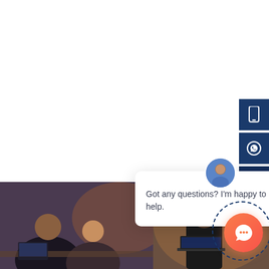[Figure (screenshot): Website screenshot showing a live chat popup widget with avatar, message 'Got any questions? I'm happy to help.', blue sidebar contact buttons with phone and WhatsApp icons, a bottom photo strip of business people working, an orange chat bubble button, and a dashed circular outline behind the button.]